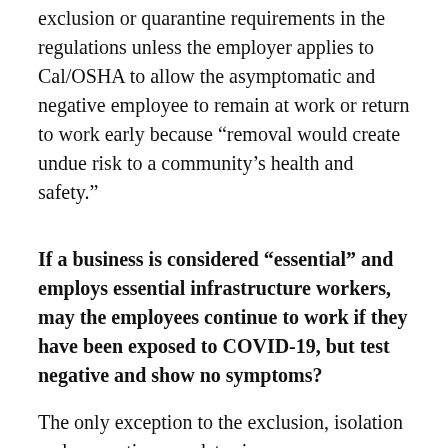exclusion or quarantine requirements in the regulations unless the employer applies to Cal/OSHA to allow the asymptomatic and negative employee to remain at work or return to work early because “removal would create undue risk to a community’s health and safety.”
If a business is considered “essential” and employs essential infrastructure workers, may the employees continue to work if they have been exposed to COVID-19, but test negative and show no symptoms?
The only exception to the exclusion, isolation and quarantine mandates in